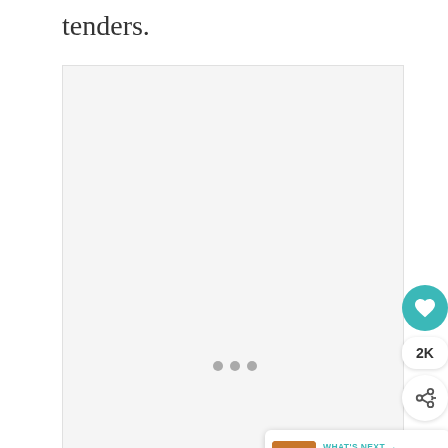tenders.
[Figure (photo): Large light grey image placeholder area with three small grey dots centered near the bottom, representing a slideshow or image carousel]
[Figure (infographic): Teal heart/like button showing 2K likes, a white share button below it, and a 'What's Next' card showing a thumbnail of fried food with text 'British Pub-Style Fried...']
[Figure (infographic): Dark navy advertisement banner reading 'SHE CAN STEM' in large bold white text, with a logo to the right]